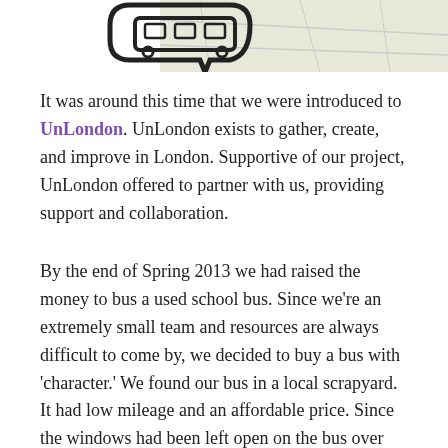[Figure (illustration): Partial image showing a bus icon with a speech bubble outline on top of a map background, cropped at top of page]
It was around this time that we were introduced to UnLondon. UnLondon exists to gather, create, and improve in London. Supportive of our project, UnLondon offered to partner with us, providing support and collaboration.
By the end of Spring 2013 we had raised the money to bus a used school bus. Since we're an extremely small team and resources are always difficult to come by, we decided to buy a bus with 'character.' We found our bus in a local scrapyard. It had low mileage and an affordable price. Since the windows had been left open on the bus over winter, a family of racoons had made the interior their home –